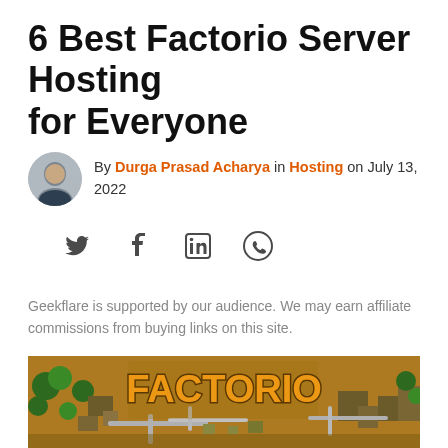6 Best Factorio Server Hosting for Everyone
By Durga Prasad Acharya in Hosting on July 13, 2022
[Figure (other): Social share icons: Twitter, Facebook, LinkedIn, WhatsApp]
Geekflare is supported by our audience. We may earn affiliate commissions from buying links on this site.
[Figure (photo): Factorio game screenshot showing the Factorio logo over a top-down view of a factory with orange/brown terrain, buildings, pipes, and trees]